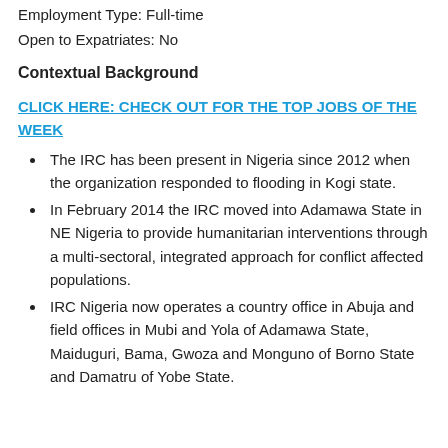Employment Type: Full-time
Open to Expatriates: No
Contextual Background
CLICK HERE: CHECK OUT FOR THE TOP JOBS OF THE WEEK
The IRC has been present in Nigeria since 2012 when the organization responded to flooding in Kogi state.
In February 2014 the IRC moved into Adamawa State in NE Nigeria to provide humanitarian interventions through a multi-sectoral, integrated approach for conflict affected populations.
IRC Nigeria now operates a country office in Abuja and field offices in Mubi and Yola of Adamawa State, Maiduguri, Bama, Gwoza and Monguno of Borno State and Damatru of Yobe State.